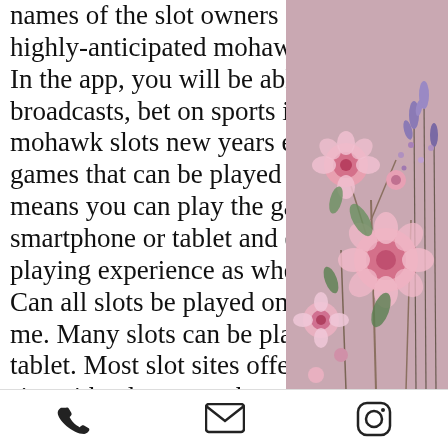names of the slot owners for this year's running of its highly-anticipated mohawk million
In the app, you will be able to bet, view game broadcasts, bet on sports in real-time and much more, mohawk slots new years eve. Mobile slots are slot games that can be played on mobile devices. This means you can play the game directly on your smartphone or tablet and enjoy exactly the same playing experience as when gaming on your desktop. Can all slots be played on mobile, best casinos near me. Many slots can be played on your phone or tablet. Most slot sites offer a mobile version of their site with a large number of games available. Rivers casino &amp; resort schenectady is new york's premiere gaming destination. Open 24/7, 365! slots, table games, quick
[Figure (illustration): Floral decorative image with pink flowers and purple wildflowers on a pink-mauve background]
Phone | Email | Instagram